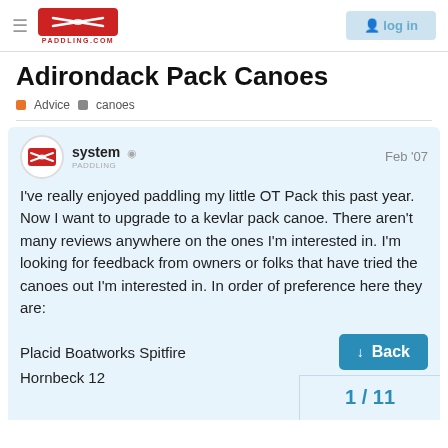Paddling.com — navigation header with logo and login button
Adirondack Pack Canoes
Advice  canoes
system  Feb '07
I've really enjoyed paddling my little OT Pack this past year. Now I want to upgrade to a kevlar pack canoe. There aren't many reviews anywhere on the ones I'm interested in. I'm looking for feedback from owners or folks that have tried the canoes out I'm interested in. In order of preference here they are:
Placid Boatworks Spitfire
Hornbeck 12